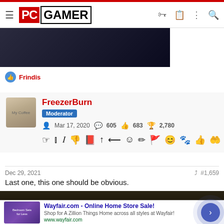PC GAMER
[Figure (photo): Partial view of a person in dark clothing holding an ID badge, dark background]
Frindis
FreezerBurn
Moderator
Mar 17, 2020 | 605 | 683 | 2,780
Dec 29, 2021  #1,659
Last one, this one should be obvious.
[Figure (photo): Partial dark-toned image visible beneath post text]
[Figure (screenshot): Wayfair.com advertisement: Online Home Store Sale! Shop for A Zillion Things Home across all styles at Wayfair! www.wayfair.com]